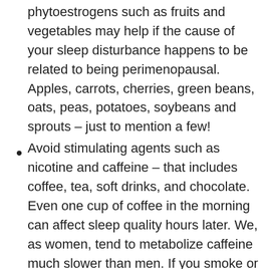phytoestrogens such as fruits and vegetables may help if the cause of your sleep disturbance happens to be related to being perimenopausal. Apples, carrots, cherries, green beans, oats, peas, potatoes, soybeans and sprouts – just to mention a few!
Avoid stimulating agents such as nicotine and caffeine – that includes coffee, tea, soft drinks, and chocolate. Even one cup of coffee in the morning can affect sleep quality hours later. We, as women, tend to metabolize caffeine much slower than men. If you smoke or chew tobacco, quit. Short of that, avoid smoking/chewing within a few hours of going to bed.
Sleep in a dark room. (How bright is your